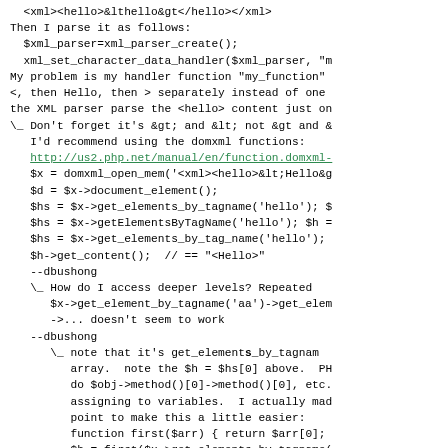Forum/Q&A thread content about XML parsing in PHP, showing code examples and discussion about domxml functions, including nested replies about accessing deeper XML levels.